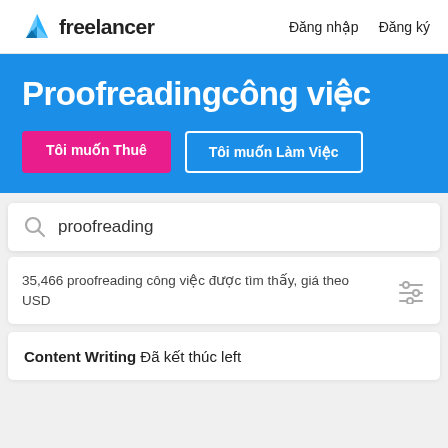[Figure (logo): Freelancer logo with blue origami bird and 'freelancer' wordmark]
Đăng nhập   Đăng ký
Proofreadingcông việc
Tôi muốn Thuê
Tôi muốn Làm Việc
proofreading
35,466 proofreading công việc được tìm thấy, giá theo USD
Content Writing Đã kết thúc left